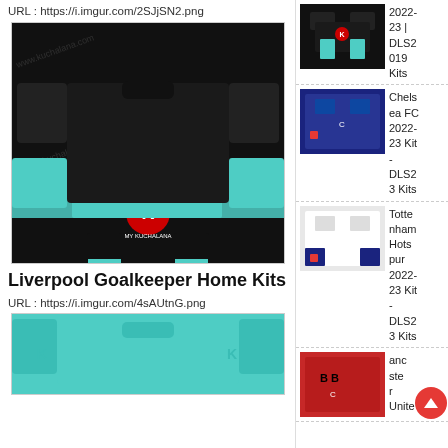URL : https://i.imgur.com/2SJjSN2.png
[Figure (photo): Liverpool Goalkeeper black away kit for DLS, showing jersey, shorts, and socks layout on white background with watermark]
Liverpool Goalkeeper Home Kits
URL : https://i.imgur.com/4sAUtnG.png
[Figure (photo): Liverpool Goalkeeper teal/mint home kit partial view]
[Figure (photo): Thumbnail - dark Liverpool GK kit 2022-23 DLS2019 Kits]
2022-23 | DLS2019 Kits
[Figure (photo): Thumbnail - Chelsea FC 2022-23 Kit DLS23 Kits]
Chelsea FC 2022-23 Kit - DLS23 Kits
[Figure (photo): Thumbnail - Tottenham Hotspur 2022-23 Kit DLS23 Kits]
Tottenham Hotspur 2022-23 Kit - DLS23 Kits
[Figure (photo): Thumbnail - Manchester United partial, red kit]
Manchester Unite